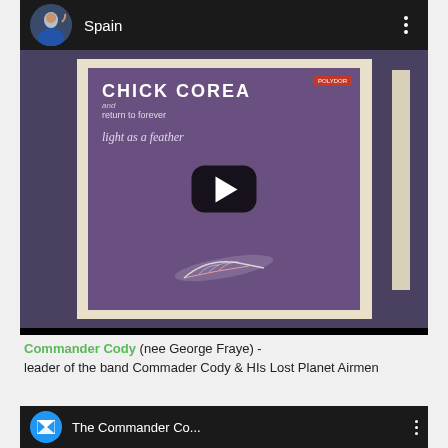[Figure (screenshot): YouTube-style video post header showing a circular avatar of a person in a blue jacket, channel name 'Spain', and a three-dot menu icon on a dark background]
[Figure (screenshot): Thumbnail of Chick Corea and Return to Forever album 'Light as a Feather' - purple album cover with feather image, white text, Polydor label badge, with a YouTube-style play button overlay]
Commander Cody (nee George Fraye) - leader of the band Commader Cody & HIs Lost Planet Airmen
[Figure (screenshot): YouTube-style video post header showing a blue circular avatar with envelope/letter icon, channel name 'The Commander Co...', and a three-dot menu icon on a dark background]